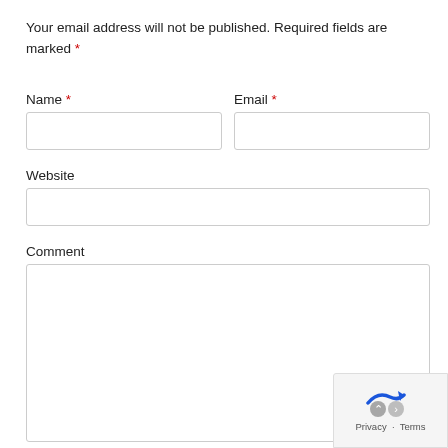Your email address will not be published. Required fields are marked *
Name *
Email *
Website
Comment
[Figure (other): Privacy and Terms overlay with blue arrow logo icon, showing 'Privacy - Terms' links]